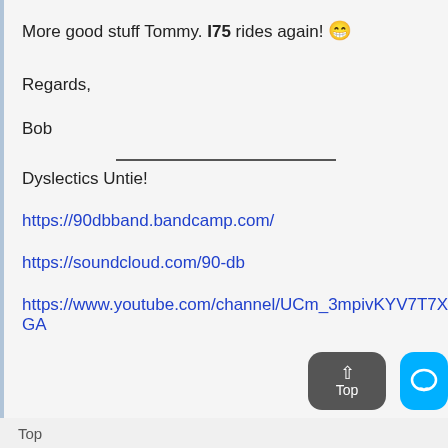More good stuff Tommy. I75 rides again! 😁
Regards,
Bob
Dyslectics Untie!
https://90dbband.bandcamp.com/
https://soundcloud.com/90-db
https://www.youtube.com/channel/UCm_3mpivKYV7T7XFJmXL-GA
Top